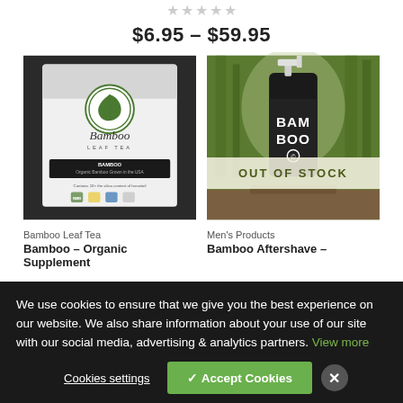$6.95 – $59.95
[Figure (photo): Bamboo Leaf Tea product package with bamboo logo]
[Figure (photo): Bamboo Aftershave spray bottle in outdoor setting with OUT OF STOCK overlay]
Bamboo Leaf Tea
Men's Products
Bamboo – Organic Supplement
Bamboo Aftershave –
We use cookies to ensure that we give you the best experience on our website. We also share information about your use of our site with our social media, advertising & analytics partners. View more
Cookies settings
✓ Accept Cookies